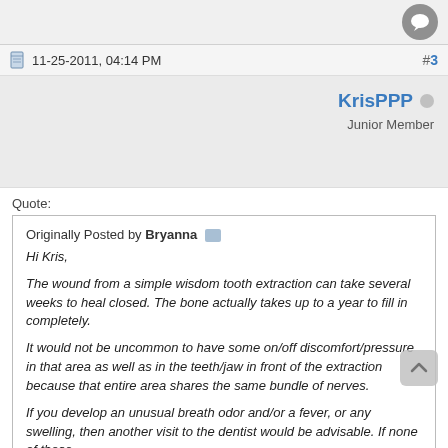11-25-2011, 04:14 PM   #3
KrisPPP
Junior Member
Quote:
Originally Posted by Bryanna
Hi Kris,

The wound from a simple wisdom tooth extraction can take several weeks to heal closed. The bone actually takes up to a year to fill in completely.

It would not be uncommon to have some on/off discomfort/pressure in that area as well as in the teeth/jaw in front of the extraction because that entire area shares the same bundle of nerves.

If you develop an unusual breath odor and/or a fever, or any swelling, then another visit to the dentist would be advisable. If none of those